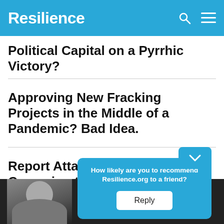Resilience
Political Capital on a Pyrrhic Victory?
Approving New Fracking Projects in the Middle of a Pandemic? Bad Idea.
Report Attacks Industry Campaign to Fix Natural Gas's Climate PR Problem
How likely are you to recommend Resilience.org to a friend?
Reply